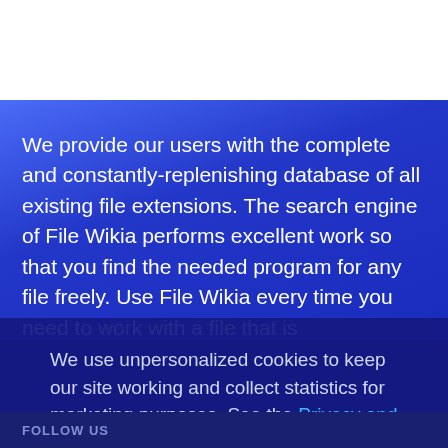We provide our users with the complete and constantly-replenishing database of all existing file extensions. The search engine of File Wikia performs excellent work so that you find the needed program for any file freely. Use File Wikia every time you need to work with a file that is
We use unpersonalized cookies to keep our site working and collect statistics for marketing purposes. See the Privacy and Cookie Policy.
ACCEPT
FOLLOW US